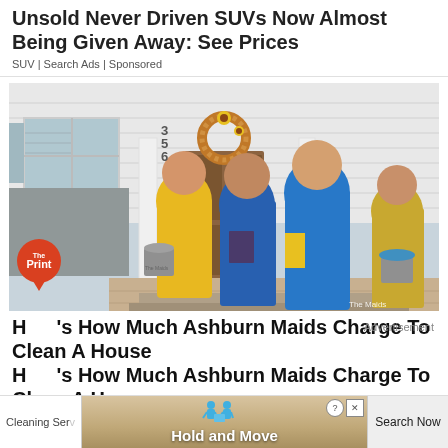Unsold Never Driven SUVs Now Almost Being Given Away: See Prices
SUV | Search Ads | Sponsored
[Figure (photo): Four women in blue and yellow uniforms (The Maids cleaning service) standing in front of a house entrance with a floral wreath on the door, holding cleaning supplies and buckets.]
Here's How Much Ashburn Maids Charge To Clean A House
Advertisement
Cleaning Services | Search Now
[Figure (screenshot): Bottom advertisement banner with moving figures icon and text 'Hold and Move', with close and info icons in top right corner.]